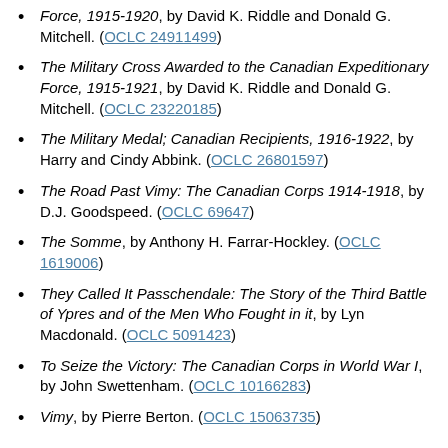Force, 1915-1920, by David K. Riddle and Donald G. Mitchell. (OCLC 24911499)
The Military Cross Awarded to the Canadian Expeditionary Force, 1915-1921, by David K. Riddle and Donald G. Mitchell. (OCLC 23220185)
The Military Medal; Canadian Recipients, 1916-1922, by Harry and Cindy Abbink. (OCLC 26801597)
The Road Past Vimy: The Canadian Corps 1914-1918, by D.J. Goodspeed. (OCLC 69647)
The Somme, by Anthony H. Farrar-Hockley. (OCLC 1619006)
They Called It Passchendale: The Story of the Third Battle of Ypres and of the Men Who Fought in it, by Lyn Macdonald. (OCLC 5091423)
To Seize the Victory: The Canadian Corps in World War I, by John Swettenham. (OCLC 10166283)
Vimy, by Pierre Berton. (OCLC 15063735)